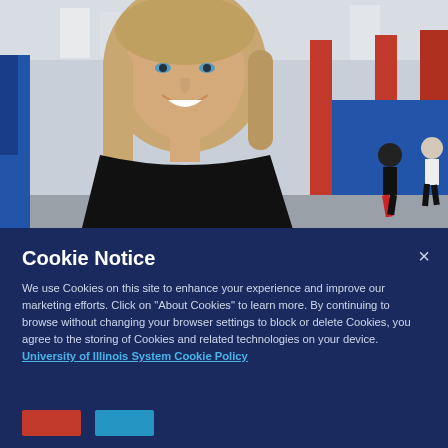[Figure (photo): A smiling blonde woman in a black top standing in a sports gymnasium/fieldhouse with red pillars and students running in the background.]
Cookie Notice
We use Cookies on this site to enhance your experience and improve our marketing efforts. Click on "About Cookies" to learn more. By continuing to browse without changing your browser settings to block or delete Cookies, you agree to the storing of Cookies and related technologies on your device.  University of Illinois System Cookie Policy